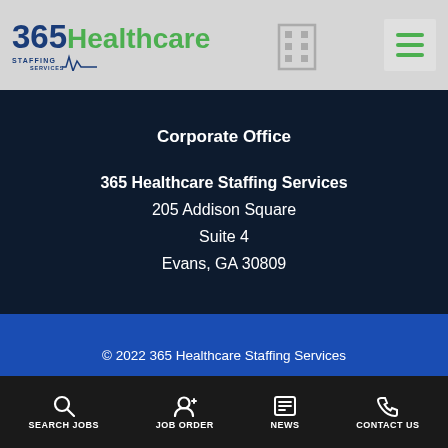365 Healthcare Staffing Services — header navigation bar
Corporate Office
365 Healthcare Staffing Services
205 Addison Square
Suite 4
Evans, GA 30809
© 2022 365 Healthcare Staffing Services
Privacy
Site Credits
SEARCH JOBS | JOB ORDER | NEWS | CONTACT US